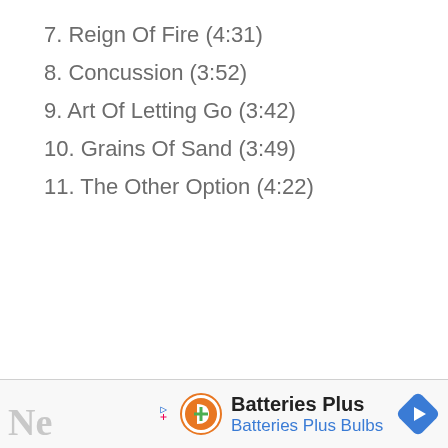7. Reign Of Fire (4:31)
8. Concussion (3:52)
9. Art Of Letting Go (3:42)
10. Grains Of Sand (3:49)
11. The Other Option (4:22)
[Figure (infographic): Advertisement banner for Batteries Plus Bulbs with orange battery logo, play/close icons, and blue navigation arrow icon]